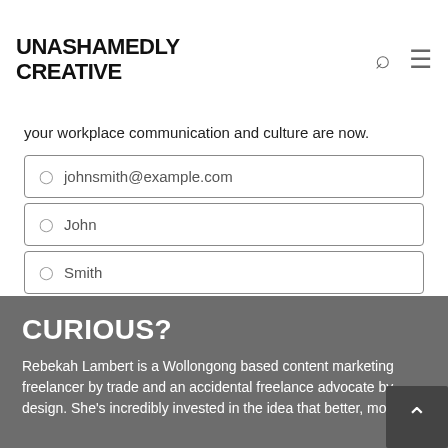UNASHAMEDLY CREATIVE
your workplace communication and culture are now.
[Figure (screenshot): Web form with email field showing johnsmith@example.com, first name field showing John, last name field showing Smith, a Download button, and a checkbox with text 'Yes, I agree with the .']
CURIOUS?
Rebekah Lambert is a Wollongong based content marketing freelancer by trade and an accidental freelance advocate by design. She's incredibly invested in the idea that better, more